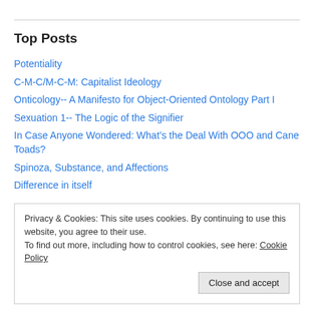Top Posts
Potentiality
C-M-C/M-C-M: Capitalist Ideology
Onticology-- A Manifesto for Object-Oriented Ontology Part I
Sexuation 1-- The Logic of the Signifier
In Case Anyone Wondered: What’s the Deal With OOO and Cane Toads?
Spinoza, Substance, and Affections
Difference in itself
Privacy & Cookies: This site uses cookies. By continuing to use this website, you agree to their use.
To find out more, including how to control cookies, see here: Cookie Policy